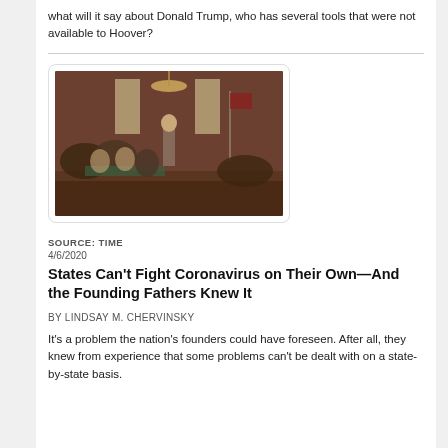what will it say about Donald Trump, who has several tools that were not available to Hoover?
[Figure (photo): Historical painting depicting the Constitutional Convention or Founding Fathers gathered in a large hall, with a standing figure at the front addressing the group.]
SOURCE: TIME
4/6/2020
States Can't Fight Coronavirus on Their Own—And the Founding Fathers Knew It
BY LINDSAY M. CHERVINSKY
It's a problem the nation's founders could have foreseen. After all, they knew from experience that some problems can't be dealt with on a state-by-state basis.